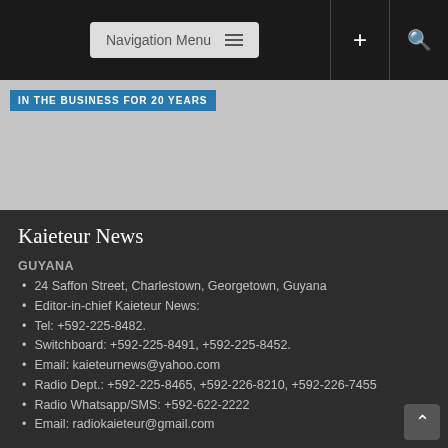Navigation Menu
[Figure (screenshot): Banner image with blue text overlay reading 'IN THE BUSINESS FOR 20 YEARS' on a grey background]
Kaieteur News
GUYANA
24 Saffon Street, Charlestown, Georgetown, Guyana
Editor-in-chief Kaieteur News:
Tel: +592-225-8482.
Switchboard: +592-225-8491, +592-225-8452.
Email: kaieteurnews@yahoo.com
Radio Dept.: +592-225-8465, +592-226-8210, +592-226-7455
Radio Whatsapp/SMS: +592-622-2222
Email: radiokaieteur@gmail.com